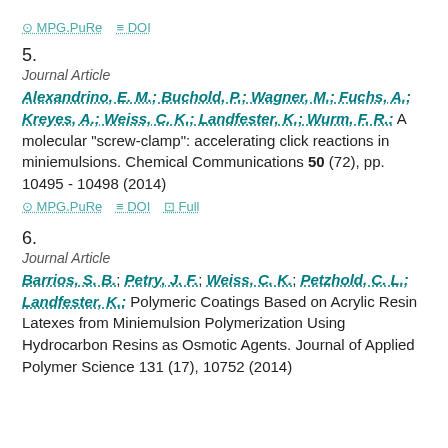⊙ MPG.PuRe   ≡ DOI
5.
Journal Article
Alexandrino, E. M.; Buchold, P.; Wagner, M.; Fuchs, A.; Kreyes, A.; Weiss, C. K.; Landfester, K.; Wurm, F. R.: A molecular "screw-clamp": accelerating click reactions in miniemulsions. Chemical Communications 50 (72), pp. 10495 - 10498 (2014)
⊙ MPG.PuRe   ≡ DOI   ⊡ Full
6.
Journal Article
Barrios, S. B.; Petry, J. F.; Weiss, C. K.; Petzhold, C. L.; Landfester, K.: Polymeric Coatings Based on Acrylic Resin Latexes from Miniemulsion Polymerization Using Hydrocarbon Resins as Osmotic Agents. Journal of Applied Polymer Science 131 (17), 10752 (2014)